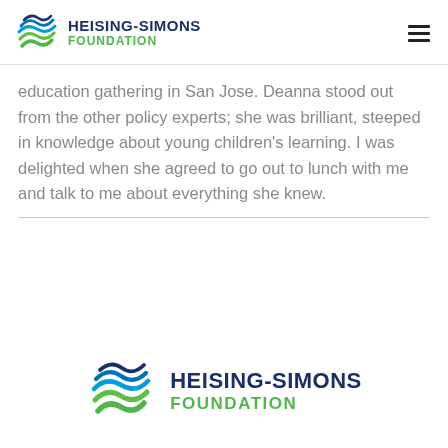HEISING-SIMONS FOUNDATION
education gathering in San Jose. Deanna stood out from the other policy experts; she was brilliant, steeped in knowledge about young children's learning. I was delighted when she agreed to go out to lunch with me and talk to me about everything she knew.
[Figure (logo): Heising-Simons Foundation logo with stylized wave icon and text]